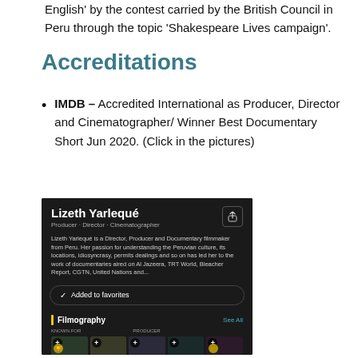English' by the contest carried by the British Council in Peru through the topic 'Shakespeare Lives campaign'.
Accreditations
IMDB – Accredited International as Producer, Director and Cinematographer/ Winner Best Documentary Short Jun 2020. (Click in the pictures)
[Figure (screenshot): IMDB mobile app screenshot showing Lizeth Yarlequé's profile as Producer, Director, Cinematographer with bio text, 'Added to favorites' button, Filmography section with film thumbnails labeled TWO]